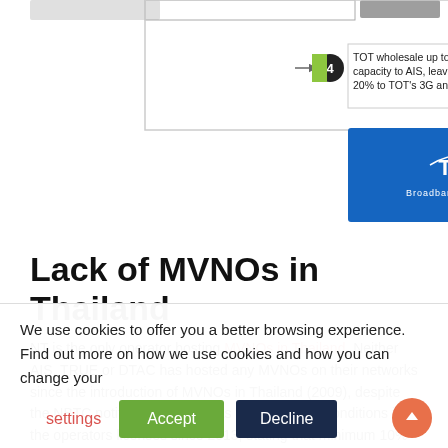[Figure (flowchart): Diagram showing TOT 4G wholesale arrangement: box labeled 4 with green background stating 'TOT wholesale up to 80% capacity to AIS, leaving 20% to TOT's 3G and 4G', connected by arrow to a blue TOT 4G Broadband Everywhere logo box]
Lack of MVNOs in Thailand
NT is the only operator hosting MVNOs in Thailand. Neither AIS, TRUE or DTAC has hosted any MVNOs on their networks since the introduction of MVNOs in Thailand (2009), despite the NBTC notification, as well as the terms and conditions in the operators licenses since 2013, stating that minimum 10% of their spectrum capacity has to go to MVNOs
We use cookies to offer you a better browsing experience. Find out more on how we use cookies and how you can change your settings